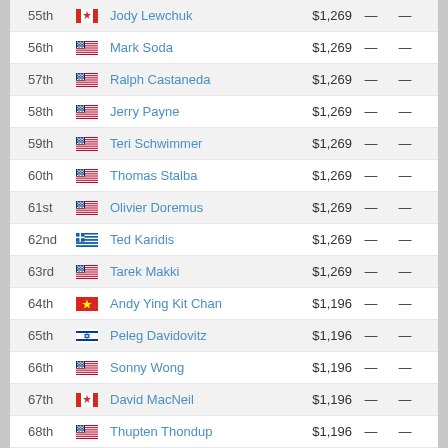| Rank | Country | Name | Prize |  |  |
| --- | --- | --- | --- | --- | --- |
| 55th | CA | Jody Lewchuk | $1,269 | — | — |
| 56th | US | Mark Soda | $1,269 | — | — |
| 57th | US | Ralph Castaneda | $1,269 | — | — |
| 58th | US | Jerry Payne | $1,269 | — | — |
| 59th | US | Teri Schwimmer | $1,269 | — | — |
| 60th | US | Thomas Stalba | $1,269 | — | — |
| 61st | US | Olivier Doremus | $1,269 | — | — |
| 62nd | GR | Ted Karidis | $1,269 | — | — |
| 63rd | US | Tarek Makki | $1,269 | — | — |
| 64th | VN | Andy Ying Kit Chan | $1,196 | — | — |
| 65th | IL | Peleg Davidovitz | $1,196 | — | — |
| 66th | US | Sonny Wong | $1,196 | — | — |
| 67th | CA | David MacNeil | $1,196 | — | — |
| 68th | US | Thupten Thondup | $1,196 | — | — |
| 69th | US | William "Monkey" Souther | $1,196 | — | — |